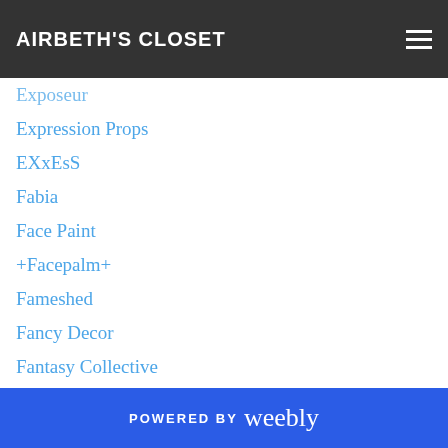AIRBETH'S CLOSET
Exposeur
Expression Props
EXxEsS
Fabia
Face Paint
+Facepalm+
Fameshed
Fancy Decor
Fantasy Collective
Fantasy Faire
Fantasy Gacha
Fashiowl
Fawny
(FD)
Felicity
POWERED BY weebly